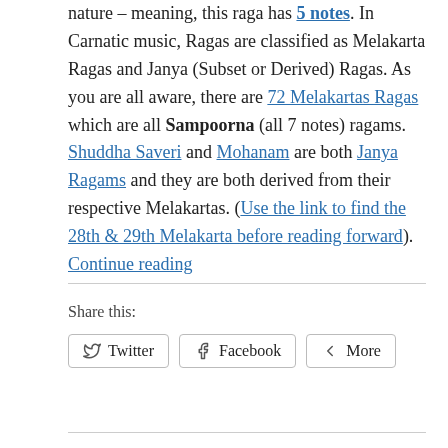nature – meaning, this raga has 5 notes. In Carnatic music, Ragas are classified as Melakarta Ragas and Janya (Subset or Derived) Ragas. As you are all aware, there are 72 Melakartas Ragas which are all Sampoorna (all 7 notes) ragams. Shuddha Saveri and Mohanam are both Janya Ragams and they are both derived from their respective Melakartas. (Use the link to find the 28th & 29th Melakarta before reading forward). Continue reading
Share this:
Twitter
Facebook
More